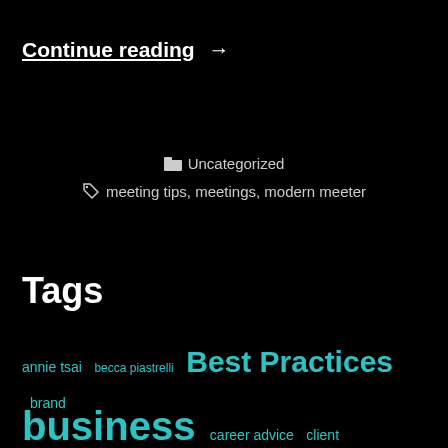Continue reading →
Uncategorized
meeting tips, meetings, modern meeter
Tags
annie tsai
becca piastrelli
Best Practices
brand
business
career advice
client segmentation